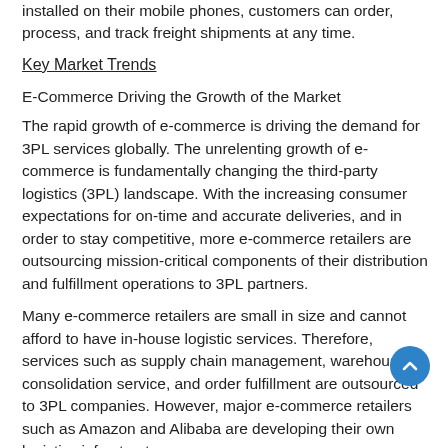installed on their mobile phones, customers can order, process, and track freight shipments at any time.
Key Market Trends
E-Commerce Driving the Growth of the Market
The rapid growth of e-commerce is driving the demand for 3PL services globally. The unrelenting growth of e-commerce is fundamentally changing the third-party logistics (3PL) landscape. With the increasing consumer expectations for on-time and accurate deliveries, and in order to stay competitive, more e-commerce retailers are outsourcing mission-critical components of their distribution and fulfillment operations to 3PL partners.
Many e-commerce retailers are small in size and cannot afford to have in-house logistic services. Therefore, services such as supply chain management, warehousing, consolidation service, and order fulfillment are outsourced to 3PL companies. However, major e-commerce retailers such as Amazon and Alibaba are developing their own logistics infrastructure.